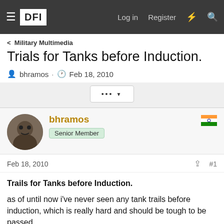DFI | Log in | Register
Military Multimedia
Trials for Tanks before Induction.
bhramos · Feb 18, 2010
bhramos
Senior Member
Feb 18, 2010 #1
Trails for Tanks before Induction.

as of until now i've never seen any tank trails before induction, which is really hard and should be tough to be passed.

here is one for T-90 trails in Malaysia.
[Figure (photo): Partial image of a tank visible at the bottom of the page]